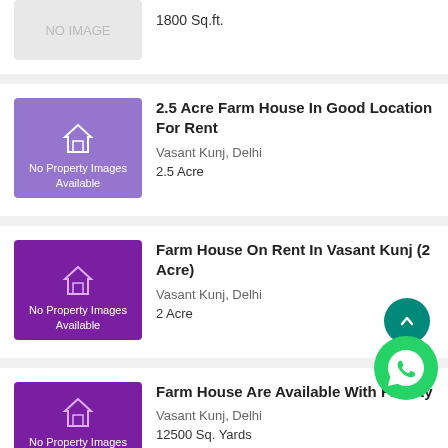1800 Sq.ft.
2.5 Acre Farm House In Good Location For Rent
Vasant Kunj, Delhi
2.5 Acre
Farm House On Rent In Vasant Kunj (2 Acre)
Vasant Kunj, Delhi
2 Acre
Farm House Are Available With Facility
Vasant Kunj, Delhi
12500 Sq. Yards